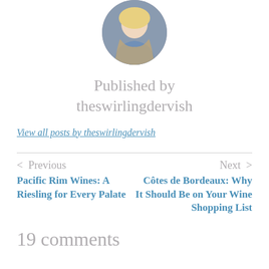[Figure (photo): Circular avatar photo of a blonde woman wearing a blue top and tan scarf]
Published by theswirlingdervish
View all posts by theswirlingdervish
< Previous
Next >
Pacific Rim Wines: A Riesling for Every Palate
Côtes de Bordeaux: Why It Should Be on Your Wine Shopping List
19 comments